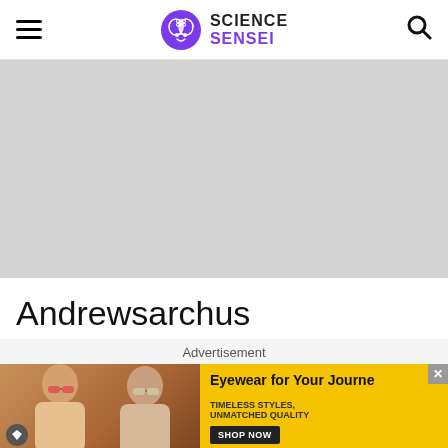Science Sensei
[Figure (photo): Gray placeholder image for article hero/banner]
Andrewsarchus
Advertisement
[Figure (photo): Advertisement banner showing two women wearing sunglasses with text: Eyewear for Your Journey. TIMELESS STYLES, UNMATCHED QUALITY. SHOP NOW button.]